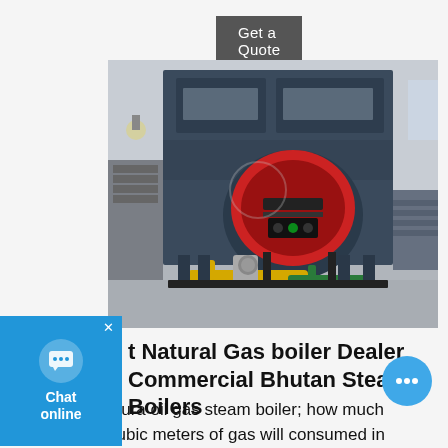Get a Quote
[Figure (photo): Large industrial natural gas steam boiler, dark blue/grey cabinet with red burner mounted at front, yellow and green gas pipes at bottom, metal support frame, industrial facility background.]
t Natural Gas boiler Dealer Commercial Bhutan Steam Boilers
hiura oil gas steam boiler; how much cubic meters of gas will consumed in boiler to produce one ton of steam; horizontal boiler design; boilers suppliers instalation kenya; vertical fire tube boiler